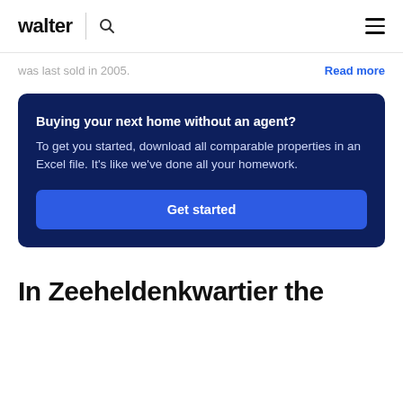walter
was last sold in 2005.
Read more
Buying your next home without an agent? To get you started, download all comparable properties in an Excel file. It's like we've done all your homework.
Get started
In Zeeheldenkwartier the